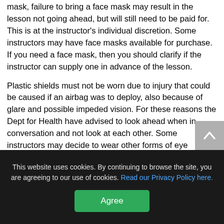mask, failure to bring a face mask may result in the lesson not going ahead, but will still need to be paid for. This is at the instructor's individual discretion. Some instructors may have face masks available for purchase. If you need a face mask, then you should clarify if the instructor can supply one in advance of the lesson.
Plastic shields must not be worn due to injury that could be caused if an airbag was to deploy, also because of glare and possible impeded vision. For these reasons the Dept for Health have advised to look ahead when in conversation and not look at each other. Some instructors may decide to wear other forms of eye coverings such as goggles at their own discretion.
This website uses cookies. By continuing to browse the site, you are agreeing to our use of cookies. Read our Privacy Policy here.
Agree